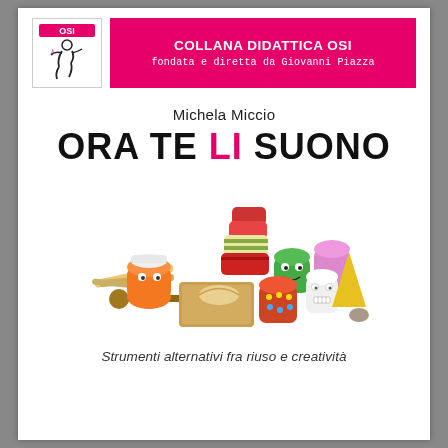[Figure (logo): OSI publisher logo with stylized figure drawing]
COLLANA DIDATTICA OSI
fondata e diretta da Giovanni Piazza
Michela Miccio
ORA TE LI SUONO
[Figure (photo): Colorful handmade toy instruments and creative objects made from recycled cups, containers, wooden sticks, and decorated items arranged together]
Strumenti alternativi fra riuso e creatività